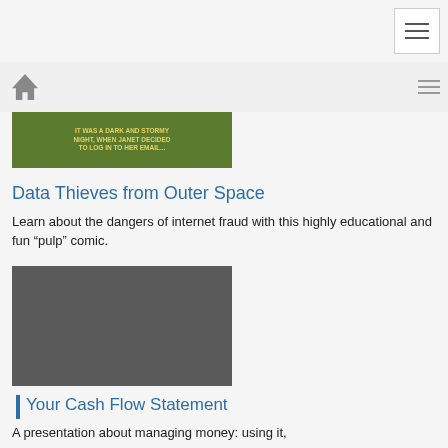[Figure (screenshot): Green banner image strip at top with yellow text, partially visible]
Data Thieves from Outer Space
Learn about the dangers of internet fraud with this highly educational and fun “pulp” comic.
[Figure (screenshot): Cash Flow slideshow image showing tablet with CASH FLOW text on dark green background, with START SLIDESHOW bar at bottom]
Your Cash Flow Statement
A presentation about managing money: using it,